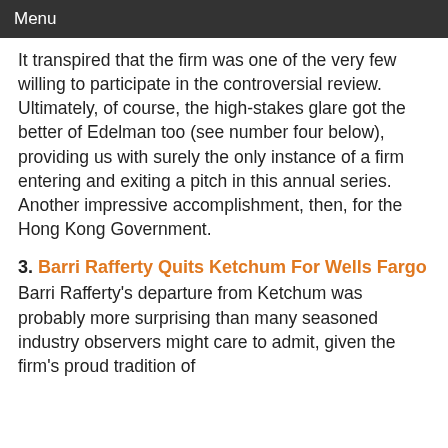Menu
It transpired that the firm was one of the very few willing to participate in the controversial review. Ultimately, of course, the high-stakes glare got the better of Edelman too (see number four below), providing us with surely the only instance of a firm entering and exiting a pitch in this annual series. Another impressive accomplishment, then, for the Hong Kong Government.
3. Barri Rafferty Quits Ketchum For Wells Fargo
Barri Rafferty's departure from Ketchum was probably more surprising than many seasoned industry observers might care to admit, given the firm's proud tradition of